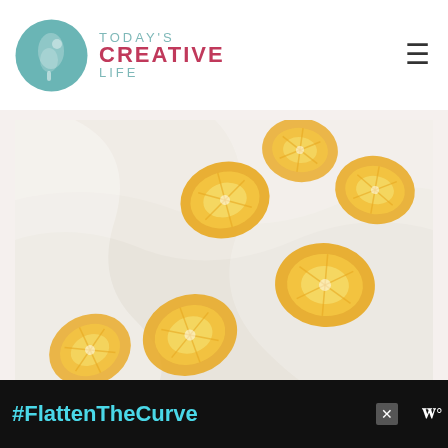TODAY'S CREATIVE LIFE — logo and navigation header
[Figure (photo): White linen tea towels with yellow lemon slice stamp prints, draped and folded]
DIY Lemon Stamped Tea Towels
[Figure (infographic): Black advertisement bar with text #FlattenTheCurve in teal, showing image of handwashing, close button, and W logo]